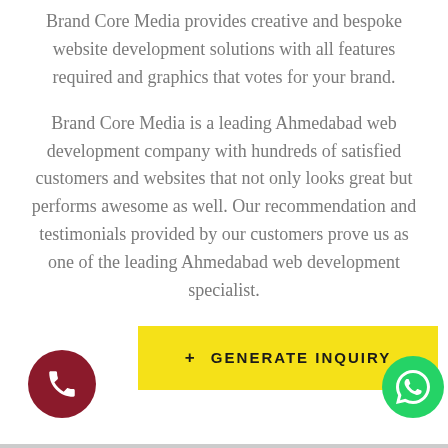Brand Core Media provides creative and bespoke website development solutions with all features required and graphics that votes for your brand.
Brand Core Media is a leading Ahmedabad web development company with hundreds of satisfied customers and websites that not only looks great but performs awesome as well. Our recommendation and testimonials provided by our customers prove us as one of the leading Ahmedabad web development specialist.
+ GENERATE INQUIRY